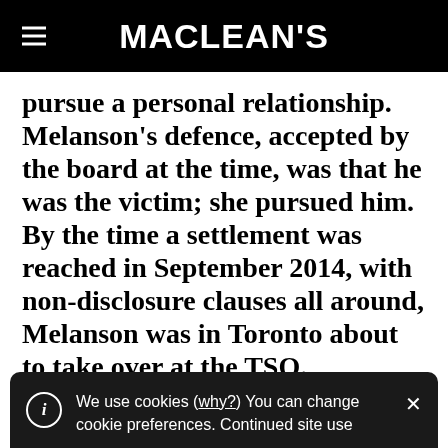MACLEAN'S
pursue a personal relationship. Melanson's defence, accepted by the board at the time, was that he was the victim; she pursued him. By the time a settlement was reached in September 2014, with non-disclosure clauses all around, Melanson was in Toronto about to take over at the TSO.
We use cookies (why?) You can change cookie preferences. Continued site use